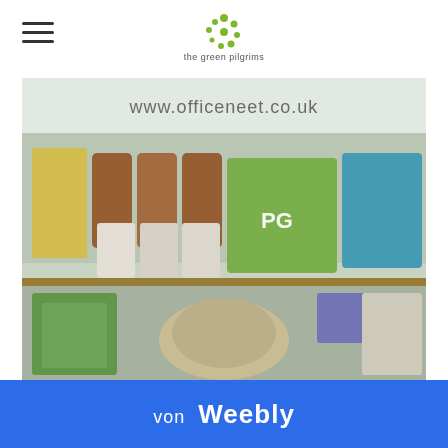the green pilgrims
[Figure (photo): Blurry photo of a shop window or display with various household and grocery products on shelves, including PG Tips tea, cleaning products, and other items. A URL 'www.officeneet.co.uk' is partially visible at the top.]
von Weebly